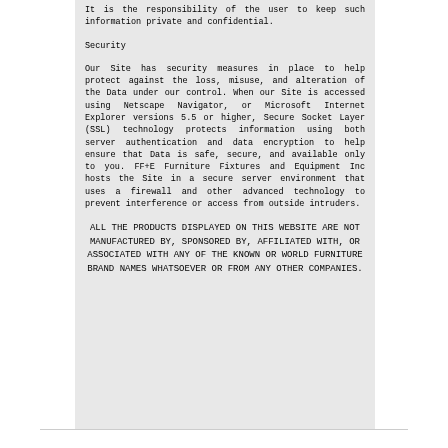It is the responsibility of the user to keep such information private and confidential.
Security
Our Site has security measures in place to help protect against the loss, misuse, and alteration of the Data under our control. When our Site is accessed using Netscape Navigator, or Microsoft Internet Explorer versions 5.5 or higher, Secure Socket Layer (SSL) technology protects information using both server authentication and data encryption to help ensure that Data is safe, secure, and available only to you. FF+E Furniture Fixtures and Equipment Inc hosts the Site in a secure server environment that uses a firewall and other advanced technology to prevent interference or access from outside intruders.
ALL THE PRODUCTS DISPLAYED ON THIS WEBSITE ARE NOT MANUFACTURED BY, SPONSORED BY, AFFILIATED WITH, OR ASSOCIATED WITH ANY OF THE KNOWN OR WORLD FURNITURE BRAND NAMES WHATSOEVER OR FROM ANY OTHER COMPANIES.